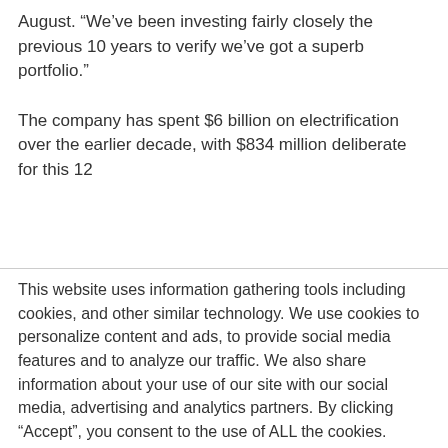August. “We’ve been investing fairly closely the previous 10 years to verify we’ve got a superb portfolio.”

The company has spent $6 billion on electrification over the earlier decade, with $834 million deliberate for this 12
This website uses information gathering tools including cookies, and other similar technology. We use cookies to personalize content and ads, to provide social media features and to analyze our traffic. We also share information about your use of our site with our social media, advertising and analytics partners. By clicking “Accept”, you consent to the use of ALL the cookies.
Do not sell my personal information. Ad and Cookie Policy